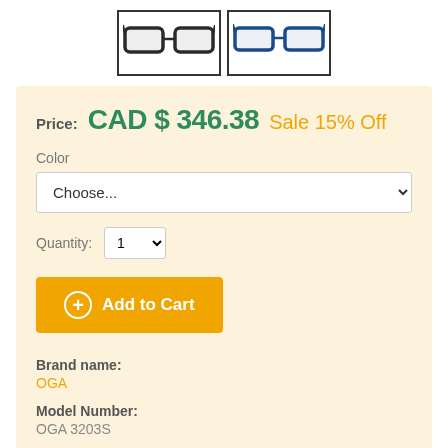[Figure (photo): Two thumbnail images of eyeglasses frames side by side — left shows dark/black frames, right shows blue frames]
Price: CAD $ 346.38 Sale 15% Off
Color
Choose...
Quantity: 1
Add to Cart
Brand name:
OGA
Model Number:
OGA 3203S